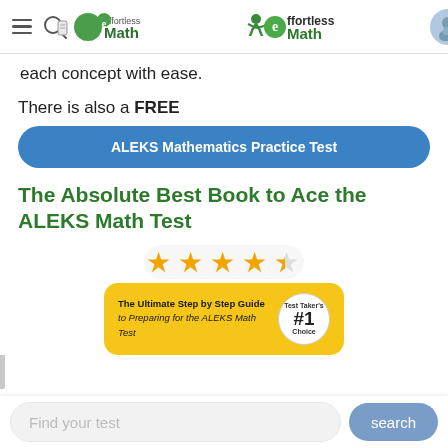Effortless Math
each concept with ease.
There is also a FREE
ALEKS Mathematics Practice Test
The Absolute Best Book to Ace the ALEKS Math Test
[Figure (other): 4.5 star rating shown with orange stars]
[Figure (other): Yellow book banner: The Ultimate Step by Step Guide to Preparing for the ALEKS Math Test, with #1 Choice badge]
Find your test
search